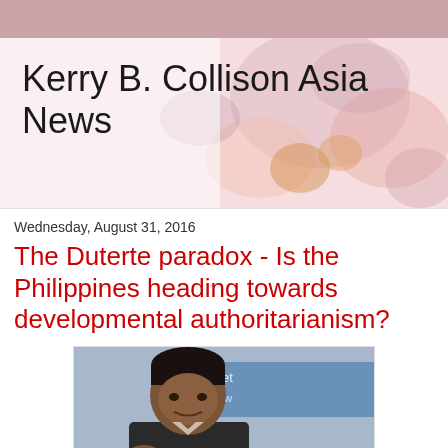Kerry B. Collison Asia News
Wednesday, August 31, 2016
The Duterte paradox - Is the Philippines heading towards developmental authoritarianism?
[Figure (photo): Photo of Rodrigo Duterte at a public event, with a blue banner visible in the background]